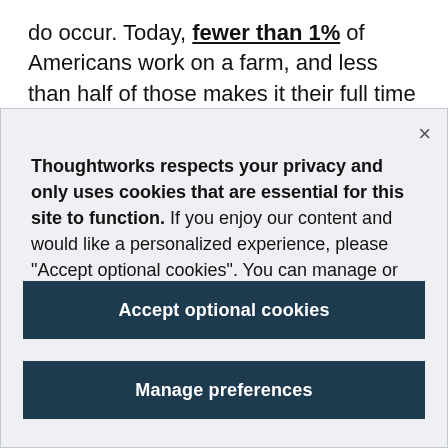do occur. Today, fewer than 1% of Americans work on a farm, and less than half of those makes it their full time job. That's a future that would have unimaginable to an 18th Century landowner. The
Thoughtworks respects your privacy and only uses cookies that are essential for this site to function. If you enjoy our content and would like a personalized experience, please "Accept optional cookies". You can manage or revoke consent at any time. Privacy policy
Accept optional cookies
Manage preferences